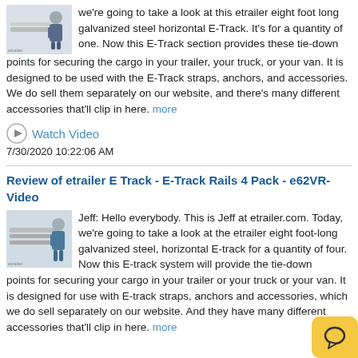we're going to take a look at this etrailer eight foot long galvanized steel horizontal E-Track. It's for a quantity of one. Now this E-Track section provides these tie-down points for securing the cargo in your trailer, your truck, or your van. It is designed to be used with the E-Track straps, anchors, and accessories. We do sell them separately on our website, and there's many different accessories that'll clip in here. more
Watch Video
7/30/2020 10:22:06 AM
Review of etrailer E Track - E-Track Rails 4 Pack - e62VR-Video
Jeff: Hello everybody. This is Jeff at etrailer.com. Today, we're going to take a look at the etrailer eight foot-long galvanized steel, horizontal E-track for a quantity of four. Now this E-track system will provide the tie-down points for securing your cargo in your trailer or your truck or your van. It is designed for use with E-track straps, anchors and accessories, which we do sell separately on our website. And they have many different accessories that'll clip in here. more